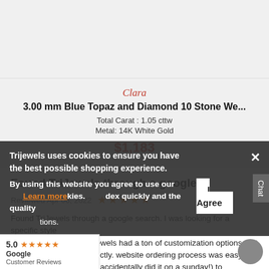[Figure (photo): Top gray area, likely a product image placeholder]
Clara
3.00 mm Blue Topaz and Diamond 10 Stone We...
Total Carat : 1.05 cttw
Metal: 14K White Gold
$1,183
Found TriJewels through a google…
Reviewed Apr 06, 2022  ★★★★★
Found TriJewels through a google search. I was looking for a specific style of ring for a gift and TriJewels had a ton of customization options that matched my needs perfectly. website ordering process was easy to execute (even though I accidentally did it on a sunday!) to ex...dex quickly and the quality tions.
Trijewels uses cookies to ensure you have the best possible shopping experience.
By using this website you agree to use our cookies. Learn more
5.0 ★★★★★ Google Customer Reviews